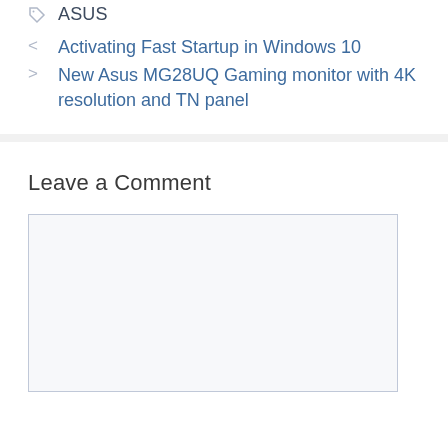ASUS
< Activating Fast Startup in Windows 10
> New Asus MG28UQ Gaming monitor with 4K resolution and TN panel
Leave a Comment